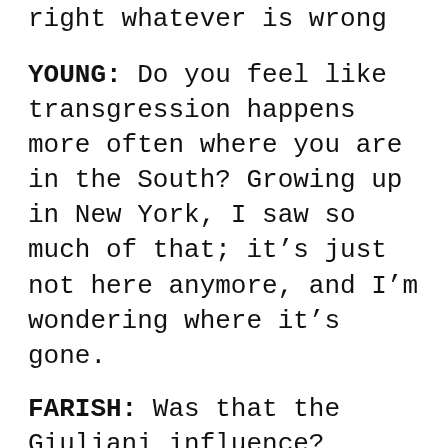right whatever is wrong in their lives.
YOUNG: Do you feel like transgression happens more often where you are in the South? Growing up in New York, I saw so much of that; it’s just not here anymore, and I’m wondering where it’s gone.
FARISH: Was that the Giuliani influence?
YOUNG: Yes, but also a whitewashing I’ve seen in general in major cities. Cities have become tame. The worst thing a kid growing up in downtown New York today will see is someone not recycling. [laughs]